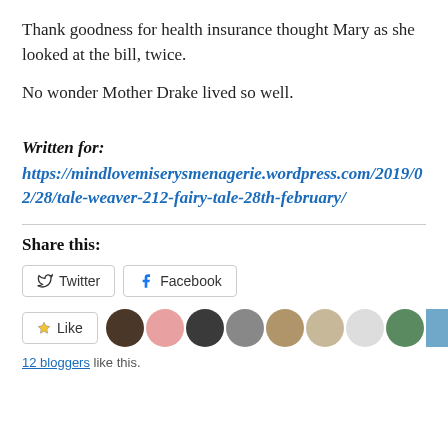Thank goodness for health insurance thought Mary as she looked at the bill, twice.
No wonder Mother Drake lived so well.
Written for:
https://mindlovemiserysmenagerie.wordpress.com/2019/02/28/tale-weaver-212-fairy-tale-28th-february/
Share this:
Twitter   Facebook
Like   12 bloggers like this.